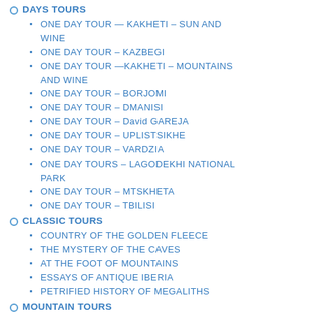DAYS TOURS
ONE DAY TOUR — KAKHETI – SUN AND WINE
ONE DAY TOUR – KAZBEGI
ONE DAY TOUR —KAKHETI – MOUNTAINS AND WINE
ONE DAY TOUR – BORJOMI
ONE DAY TOUR – DMANISI
ONE DAY TOUR – David GAREJA
ONE DAY TOUR – UPLISTSIKHE
ONE DAY TOUR – VARDZIA
ONE DAY TOURS – LAGODEKHI NATIONAL PARK
ONE DAY TOUR – MTSKHETA
ONE DAY TOUR – TBILISI
CLASSIC TOURS
COUNTRY OF THE GOLDEN FLEECE
THE MYSTERY OF THE CAVES
AT THE FOOT OF MOUNTAINS
ESSAYS OF ANTIQUE IBERIA
PETRIFIED HISTORY OF MEGALITHS
MOUNTAIN TOURS
MOUNTAIN TOUR – SVANETI